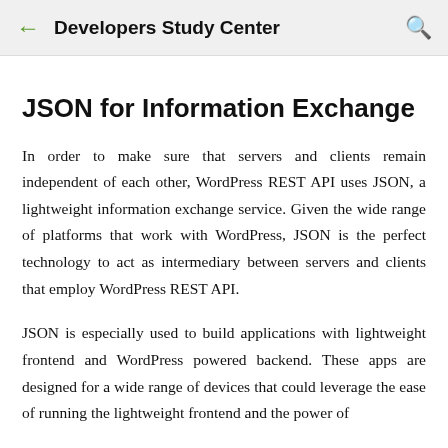Developers Study Center
JSON for Information Exchange
In order to make sure that servers and clients remain independent of each other, WordPress REST API uses JSON, a lightweight information exchange service. Given the wide range of platforms that work with WordPress, JSON is the perfect technology to act as intermediary between servers and clients that employ WordPress REST API.
JSON is especially used to build applications with lightweight frontend and WordPress powered backend. These apps are designed for a wide range of devices that could leverage the ease of running the lightweight frontend and the power of